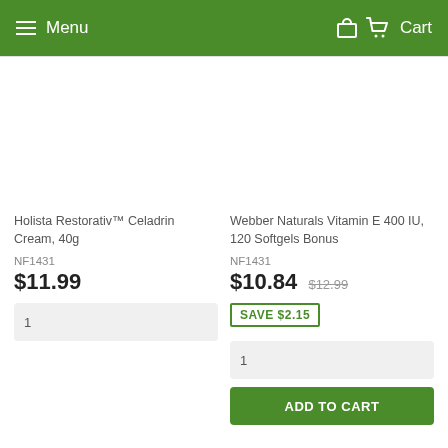Menu   Cart
Holista Restorativ™ Celadrin Cream, 40g
NF1431
$11.99
1
Webber Naturals Vitamin E 400 IU, 120 Softgels Bonus
NF1431
$10.84  $12.99
SAVE $2.15
1
ADD TO CART